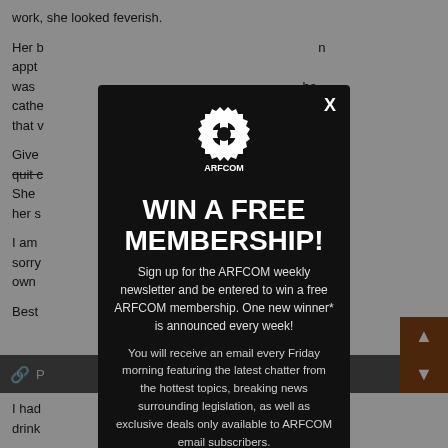work, she looked feverish.
Her b... appt... was... cathe... said that w...
Give... has quit c... She... not her s...
I am... than sorry... o my own...
Best...
I had... drink... ooked
[Figure (infographic): ARFCOM modal popup overlay with dark background showing gear logo, 'WIN A FREE MEMBERSHIP!' heading, newsletter signup description, and email input field with close X button in top right corner.]